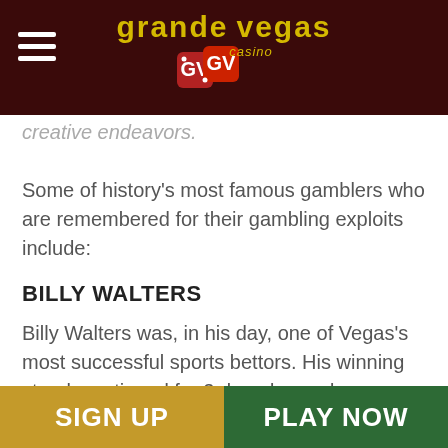Grande Vegas Casino
creative endeavors.
Some of history’s most famous gamblers who are remembered for their gambling exploits include:
BILLY WALTERS
Billy Walters was, in his day, one of Vegas’s most successful sports bettors. His winning streak continued for 3 decades and was responsible for much of his 2014 net worth of $100 million.
Walters grew up poor but became a successful businessman through hard work and entrepreneurship.